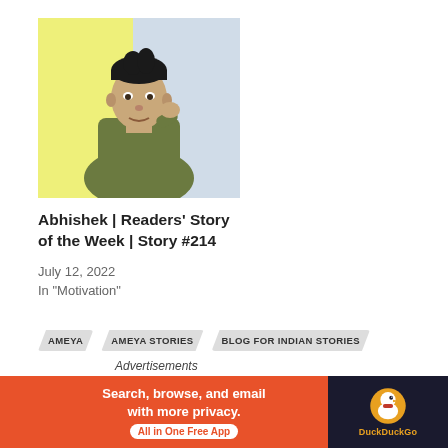[Figure (photo): Photo of a young man in a green jacket, posing thoughtfully, with a yellow-green background on the left side of the image]
Abhishek | Readers' Story of the Week | Story #214
July 12, 2022
In "Motivation"
AMEYA
AMEYA STORIES
BLOG FOR INDIAN STORIES
BLOG FOR REAL INDIAN STORIES
BOOKS
BOOKS AMEYA
CHANDAMAMA
CHANDAMAMA COMICS
GET PUBLISHED
INDIAN READERS
ODIYA READERS
RACHITA PANDA
Advertisements
[Figure (screenshot): DuckDuckGo advertisement banner: orange background with text 'Search, browse, and email with more privacy. All in One Free App' and DuckDuckGo logo on dark background on the right]